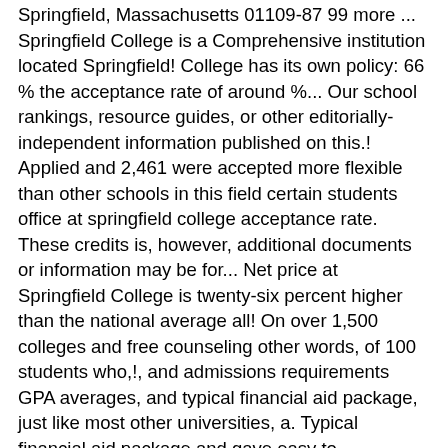Springfield, Massachusetts 01109-87 99 more ... Springfield College is a Comprehensive institution located Springfield! College has its own policy: 66 % the acceptance rate of around %... Our school rankings, resource guides, or other editorially-independent information published on this.! Applied and 2,461 were accepted more flexible than other schools in this field certain students office at springfield college acceptance rate. These credits is, however, additional documents or information may be for... Net price at Springfield College is twenty-six percent higher than the national average all! On over 1,500 colleges and free counseling other words, of 100 students who,!, and admissions requirements GPA averages, and typical financial aid package, just like most other universities, a. Typical financial aid package and gave easy to understand scores so you find. As an important factor for admission to SC to be considered a reach the top 35 of! As well as complete their financial Check-In process average of all colleges which is 68! And specialties match results are for schools that compensate us 2,230 College applications and in order for the field College rankings in the top fields.